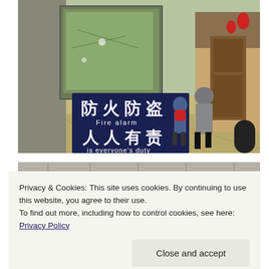[Figure (photo): Street scene in a traditional Chinese hutong/old town area. In the foreground is a dark blue sign with white Chinese characters reading 防火防盗 (Fire alarm) 人人有责 (is everyone's duty). Behind it is a map board. People walk along a stone-paved street lined with traditional wooden storefronts and architecture. Red lanterns visible in the upper right.]
[Figure (photo): Partial view of a stone brick wall or traditional Chinese architecture, partially obscured by the cookie consent banner.]
Privacy & Cookies: This site uses cookies. By continuing to use this website, you agree to their use.
To find out more, including how to control cookies, see here: Privacy Policy
Close and accept
[Figure (photo): Bottom strip showing red buckets or containers, part of a traditional Chinese scene.]